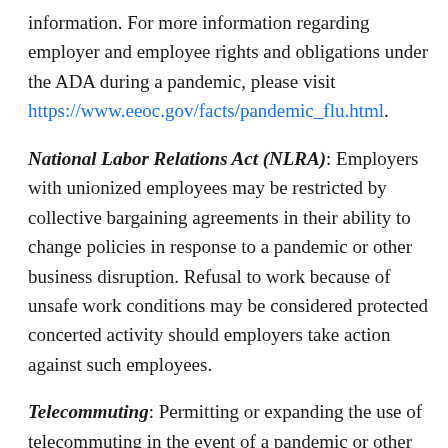information. For more information regarding employer and employee rights and obligations under the ADA during a pandemic, please visit https://www.eeoc.gov/facts/pandemic_flu.html.
National Labor Relations Act (NLRA): Employers with unionized employees may be restricted by collective bargaining agreements in their ability to change policies in response to a pandemic or other business disruption. Refusal to work because of unsafe work conditions may be considered protected concerted activity should employers take action against such employees.
Telecommuting: Permitting or expanding the use of telecommuting in the event of a pandemic or other emergency raises various issues. For example, telecommuting may increase the risks of disclosure of